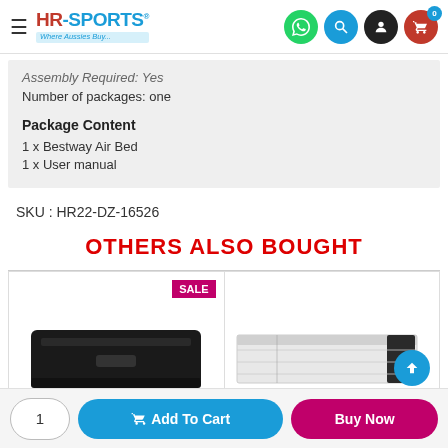HR-Sports Where Aussies Buy...
Assembly Required: Yes
Number of packages: one
Package Content
1 x Bestway Air Bed
1 x User manual
SKU : HR22-DZ-16526
OTHERS ALSO BOUGHT
[Figure (photo): Two product images side by side: left shows a black storage ottoman bed with SALE badge; right shows a white bed frame.]
1  Add To Cart  Buy Now